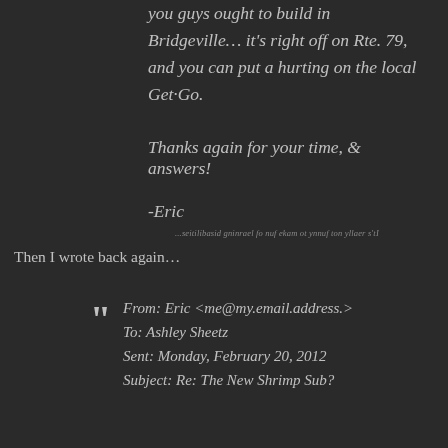you guys ought to build in Bridgeville… it's right off on Rte. 79, and you can put a hurting on the local Get-Go.
Thanks again for your time, & answers!
-Eric
"It's really not funny to make fun of learning disabilities..."
Then I wrote back again…
From: Eric <me@my.email.address.>
To: Ashley Sheetz
Sent: Monday, February 20, 2012
Subject: Re: The New Shrimp Sub?